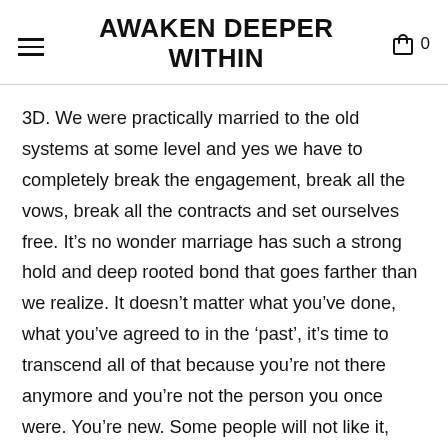AWAKEN DEEPER WITHIN
3D. We were practically married to the old systems at some level and yes we have to completely break the engagement, break all the vows, break all the contracts and set ourselves free. It’s no wonder marriage has such a strong hold and deep rooted bond that goes farther than we realize. It doesn’t matter what you’ve done, what you’ve agreed to in the ‘past’, it’s time to transcend all of that because you’re not there anymore and you’re not the person you once were. You’re new. Some people will not like it, won’t agree with it, won’t accept it and it doesn’t matter, we all have that experience at some level. You